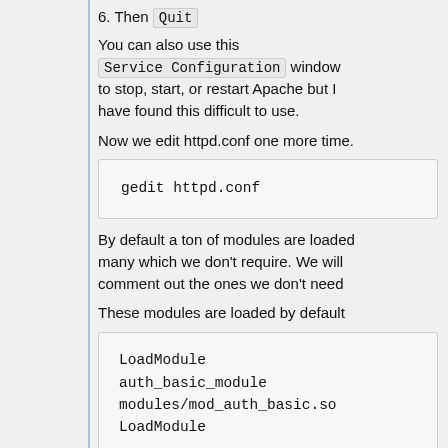6. Then Quit
You can also use this Service Configuration window to stop, start, or restart Apache but I have found this difficult to use.
Now we edit httpd.conf one more time.
gedit httpd.conf
By default a ton of modules are loaded many which we don't require. We will comment out the ones we don't need
These modules are loaded by default
LoadModule auth_basic_module modules/mod_auth_basic.so LoadModule